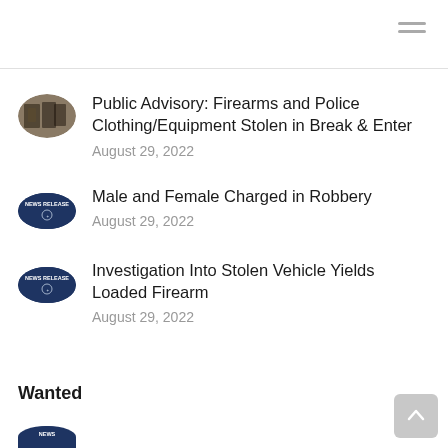Public Advisory: Firearms and Police Clothing/Equipment Stolen in Break & Enter — August 29, 2022
Male and Female Charged in Robbery — August 29, 2022
Investigation Into Stolen Vehicle Yields Loaded Firearm — August 29, 2022
Wanted